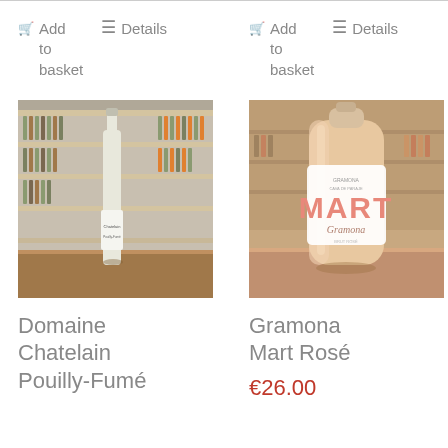Add to basket
Details
[Figure (photo): Bottle of Domaine Chatelain Pouilly-Fumé white wine on a wooden counter in front of shelving stocked with wine bottles]
Domaine Chatelain Pouilly-Fumé
Add to basket
Details
[Figure (photo): Gramona Mart Rosé wine bottle with prominent MART label in pink/rose color, in a wine shop setting]
Gramona Mart Rosé
€26.00